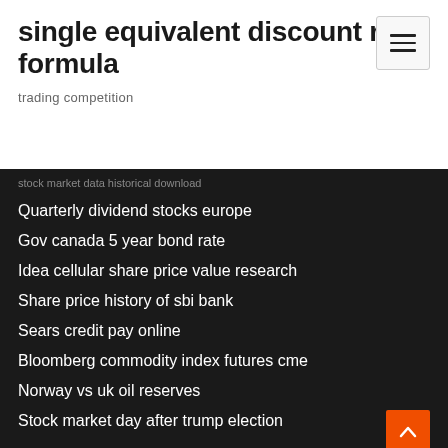single equivalent discount rate formula
trading competition
Quarterly dividend stocks europe
Gov canada 5 year bond rate
Idea cellular share price value research
Share price history of sbi bank
Sears credit pay online
Bloomberg commodity index futures cme
Norway vs uk oil reserves
Stock market day after trump election